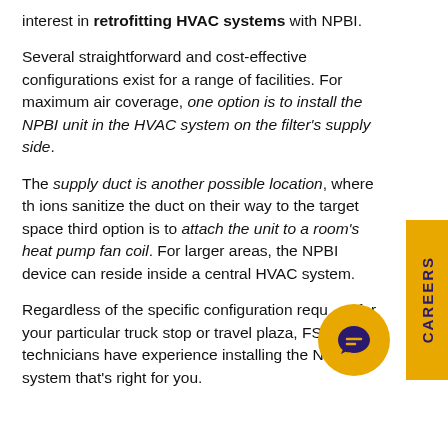interest in retrofitting HVAC systems with NPBI.
Several straightforward and cost-effective configurations exist for a range of facilities. For maximum air coverage, one option is to install the NPBI unit in the HVAC system on the filter's supply side.
The supply duct is another possible location, where the ions sanitize the duct on their way to the target space. A third option is to attach the unit to a room's heat pump fan coil. For larger areas, the NPBI device can reside inside a central HVAC system.
Regardless of the specific configuration required for your particular truck stop or travel plaza, FSI technicians have experience installing the NPBI system that's right for you.
[Figure (infographic): Yellow vertical tab on the right side with the word CAREERS written vertically in dark purple bold uppercase letters.]
[Figure (infographic): Yellow circular chat bubble icon with a dark purple speech bubble symbol inside, overlapping the last text paragraph.]